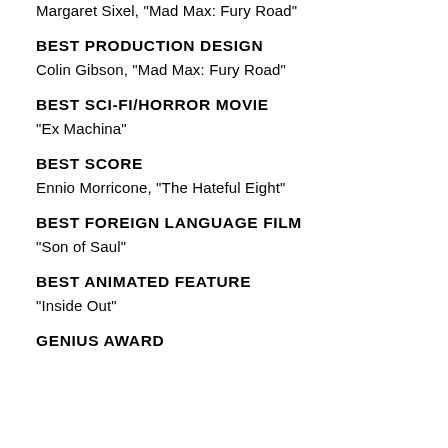Margaret Sixel, "Mad Max: Fury Road"
BEST PRODUCTION DESIGN
Colin Gibson, "Mad Max: Fury Road"
BEST SCI-FI/HORROR MOVIE
"Ex Machina"
BEST SCORE
Ennio Morricone, "The Hateful Eight"
BEST FOREIGN LANGUAGE FILM
"Son of Saul"
BEST ANIMATED FEATURE
"Inside Out"
GENIUS AWARD